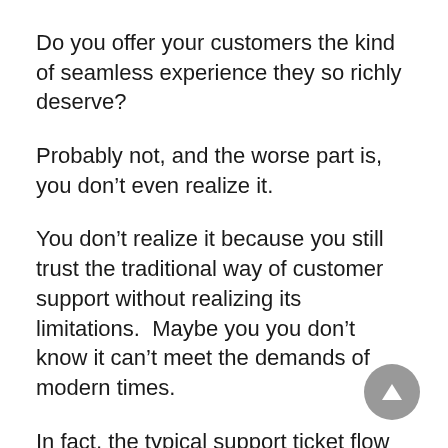Do you offer your customers the kind of seamless experience they so richly deserve?
Probably not, and the worse part is, you don’t even realize it.
You don’t realize it because you still trust the traditional way of customer support without realizing its limitations.  Maybe you you don’t know it can’t meet the demands of modern times.
In fact, the typical support ticket flow lacks human touch and involves wait time. And that’s why it fails to deliver the kind of support users expect these days.